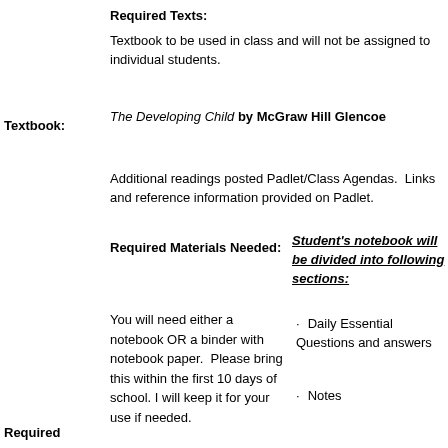Required Texts:
Textbook to be used in class and will not be assigned to individual students.
The Developing Child by McGraw Hill Glencoe
Textbook:
Additional readings posted Padlet/Class Agendas.  Links and reference information provided on Padlet.
Required Materials Needed:
Student's notebook will be divided into following sections:
You will need either a notebook OR a binder with notebook paper.  Please bring this within the first 10 days of school. I will keep it for your use if needed.
Daily Essential Questions and answers
Notes
Required